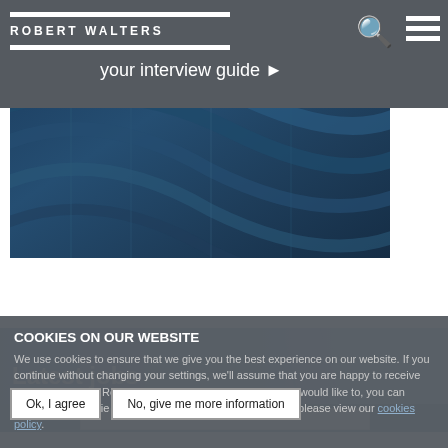ROBERT WALTERS
your interview guide ▶
[Figure (photo): Close-up of glass and steel building facade with curved architectural lines in dark blue tones]
Latest jobs
COOKIES ON OUR WEBSITE
We use cookies to ensure that we give you the best experience on our website. If you continue without changing your settings, we'll assume that you are happy to receive all cookies on the Robert Walters website. However, if you would like to, you can change your cookie settings at any time. To find out more, please view our cookies policy.
Ok, I agree
No, give me more information